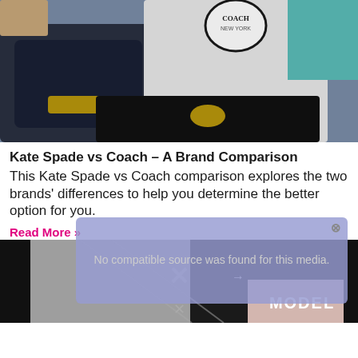[Figure (photo): Photo showing Kate Spade and Coach brand accessories - wallets/purses in black and white on a surface]
Kate Spade vs Coach – A Brand Comparison
This Kate Spade vs Coach comparison explores the two brands' differences to help you determine the better option for you.
Read More »
[Figure (screenshot): Video overlay box with text: No compatible source was found for this media. with close button and X mark]
[Figure (photo): Bottom portion showing black and white photo with MODEL text overlay and X mark]